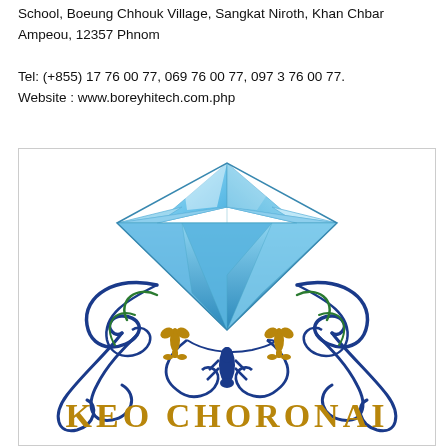School, Boeung Chhouk Village, Sangkat Niroth, Khan Chbar Ampeou, 12357 Phnom

Tel: (+855) 17 76 00 77, 069 76 00 77, 097 3 76 00 77.
Website : www.boreyhitech.com.php
[Figure (logo): KEO CHORONAI logo featuring a large blue diamond gemstone at top, ornate dark blue scrollwork and fleur-de-lis decorations in the middle, with 'KEO  CHORONAI' text in large gold serif letters at the bottom, all on a white background with a light border.]